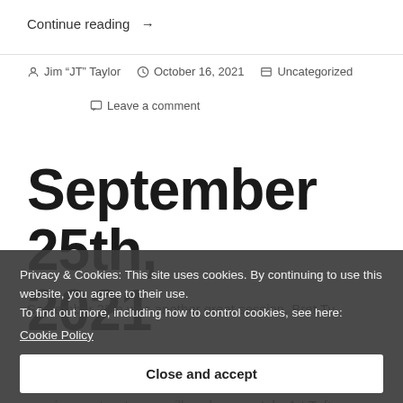Continue reading →
Jim "JT" Taylor   October 16, 2021   Uncategorized   Leave a comment
September 25th, 2021
Privacy & Cookies: This site uses cookies. By continuing to use this website, you agree to their use.
To find out more, including how to control cookies, see here:
Cookie Policy
Close and accept
September 25th was another great session. Bret Tu
this allow us doing restoration work. For another session our two teams will work separately. Art Tuftee